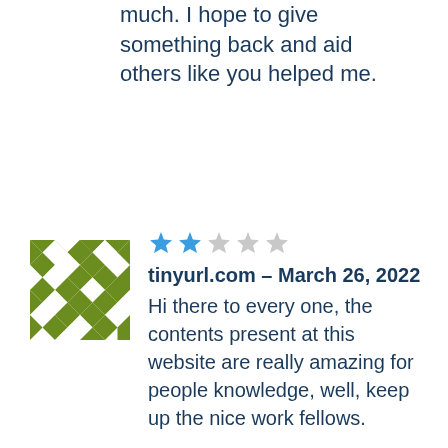much. I hope to give something back and aid others like you helped me.
[Figure (illustration): Green and white geometric/mosaic avatar icon with diamond and triangle patterns]
tinyurl.com – March 26, 2022
Hi there to every one, the contents present at this website are really amazing for people knowledge, well, keep up the nice work fellows.